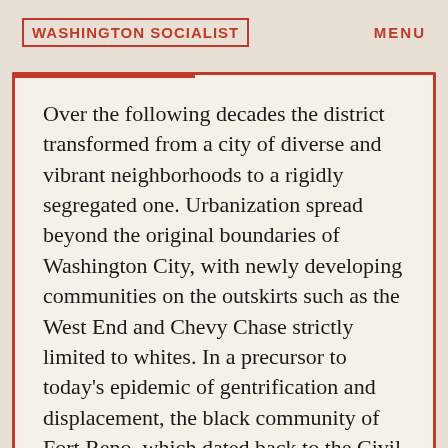WASHINGTON SOCIALIST
MENU
Over the following decades the district transformed from a city of diverse and vibrant neighborhoods to a rigidly segregated one. Urbanization spread beyond the original boundaries of Washington City, with newly developing communities on the outskirts such as the West End and Chevy Chase strictly limited to whites. In a precursor to today's epidemic of gentrification and displacement, the black community of Fort Reno, which dated back to the Civil War and was surrounded by the white neighborhood of Tenleytown, was driven out during the 1930s